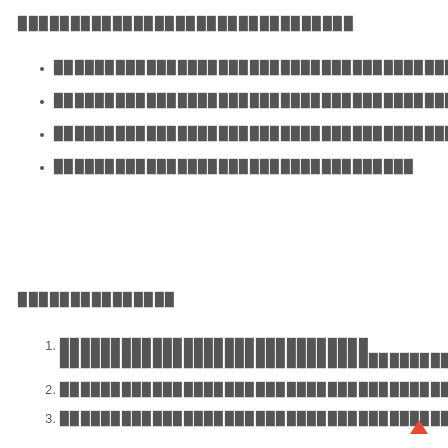▉▉▉▉▉▉▉▉▉▉▉▉▉▉▉▉▉▉▉▉▉▉▉▉▉▉▉▉▉▉▉▉
▉▉▉▉▉▉▉▉▉▉▉▉▉▉▉▉▉▉▉▉▉▉▉▉▉▉▉▉▉▉▉▉▉▉▉▉▉▉▉▉▉▉▉▉▉
▉▉▉▉▉▉▉▉▉▉▉▉▉▉▉▉▉▉▉▉▉▉▉▉▉▉▉▉▉▉▉▉▉▉▉▉▉▉▉▉▉▉▉
▉▉▉▉▉▉▉▉▉▉▉▉▉▉▉▉▉▉▉▉▉▉▉▉▉▉▉▉▉▉▉▉▉▉▉▉▉▉▉▉▉▉▉
▉▉▉▉▉▉▉▉▉▉▉▉▉▉▉▉▉▉▉▉▉▉▉▉▉▉▉▉▉▉▉▉▉▉▉
▉▉▉▉▉▉▉▉▉▉▉▉▉▉▉
▉▉▉▉▉▉▉▉▉▉▉▉▉▉▉▉▉▉▉▉▉▉▉▉▉▉▉▉▉▉ ▉▉▉▉▉▉▉▉▉▉▉▉▉▉▉▉▉▉▉▉▉▉▉▉▉▉▉▉▉▉▉▉▉▉▉▉▉▉
▉▉▉▉▉▉▉▉▉▉▉▉▉▉▉▉▉▉▉▉▉▉▉▉▉▉▉▉▉▉▉▉▉▉▉▉▉▉▉▉▉▉▉▉▉▉▉
▉▉▉▉▉▉▉▉▉▉▉▉▉▉▉▉▉▉▉▉▉▉▉▉▉▉▉▉▉▉▉▉▉▉▉▉▉▉▉▉▉▉▉▉▉▉▉▉▉▉▉▉▉▉▉▉▉▉▉▉